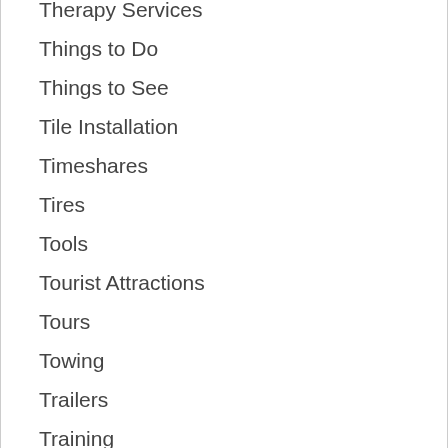Therapy Services
Things to Do
Things to See
Tile Installation
Timeshares
Tires
Tools
Tourist Attractions
Tours
Towing
Trailers
Training
Trash Removal
Travel
Travel Agents